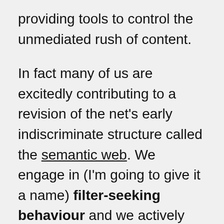providing tools to control the unmediated rush of content.
In fact many of us are excitedly contributing to a revision of the net's early indiscriminate structure called the semantic web. We engage in (I'm going to give it a name) filter-seeking behaviour and we actively create filters every time we tag a blog post or a photo.
What we should do in response to Burnham's reflex rejection of the net's openness and permissiveness is get on and provide the filters people need. The net's made of computers